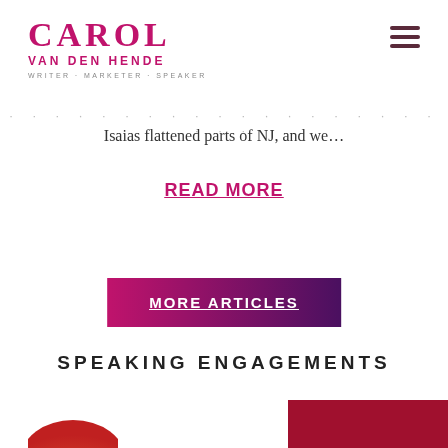CAROL VAN DEN HENDE · WRITER · MARKETER · SPEAKER
Isaias flattened parts of NJ, and we…
READ MORE
MORE ARTICLES
SPEAKING ENGAGEMENTS